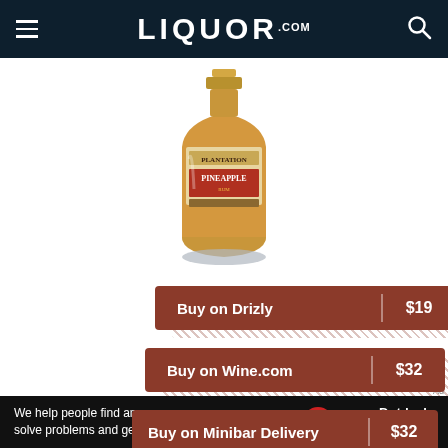LIQUOR.COM
[Figure (photo): Bottle of Plantation Pineapple rum against white background]
Buy on Drizly | $19
Buy on Wine.com | $32
Buy on Minibar Delivery | $32
We help people find answers, solve problems and get inspired. Dotdash meredith